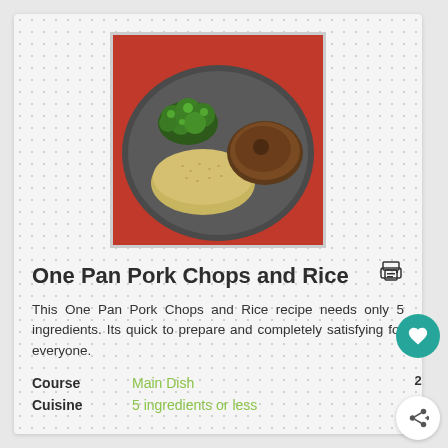[Figure (photo): A gray plate with rice, broccoli, and a pork chop on a dark background]
One Pan Pork Chops and Rice
This One Pan Pork Chops and Rice recipe needs only 5 ingredients. Its quick to prepare and completely satisfying for everyone.
Course: Main Dish
Cuisine: 5 ingredients or less
Servings: 4 SERVINGS
Prep Time: 5 MINUTES